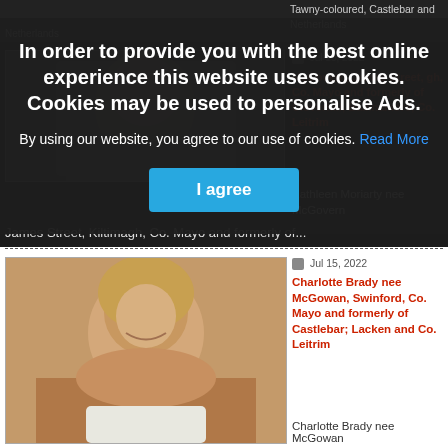Tawny-coloured, Castlebar and Netherlands
[Figure (photo): Partial photo at top of page, cut off, dark background]
In order to provide you with the best online experience this website uses cookies. Cookies may be used to personalise Ads.
By using our website, you agree to our use of cookies. Read More
I agree
[Figure (photo): Photo of Kathleen Moriarty nee McGovern, elderly woman, close-up]
McGovern, James Street, gh, Co. Mayo and formerly of Cloverhill, Ballinamore, Co. Leitrim
Kathleen Moriarty nee McGovern
James Street, Kiltimagh, Co. Mayo and formerly of...
Jul 15, 2022
Charlotte Brady nee McGowan, Swinford, Co. Mayo and formerly of Castlebar; Lacken and Co. Leitrim
[Figure (photo): Photo of Charlotte Brady nee McGowan, middle-aged woman with brown/blonde hair, smiling]
Charlotte Brady nee McGowan